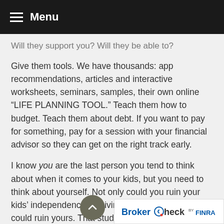Menu
Will they support you? Will they be able to?
Give them tools. We have thousands: app recommendations, articles and interactive worksheets, seminars, samples, their own online “LIFE PLANNING TOOL.” Teach them how to budget. Teach them about debt. If you want to pay for something, pay for a session with your financial advisor so they can get on the right track early.
I know you are the last person you tend to think about when it comes to your kids, but you need to think about yourself. Not only could you ruin your kids’ independence by giving them money, you could ruin yours. That study I shared with you earlier also said the average amount of support in a single instance was $6,800. I want you to think about what that amount means for your retirement. Look that
[Figure (logo): BrokerCheck by FINRA badge/logo]